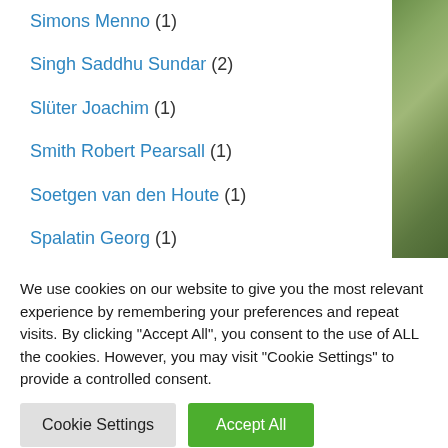Simons Menno (1)
Singh Saddhu Sundar (2)
Slüter Joachim (1)
Smith Robert Pearsall (1)
Soetgen van den Houte (1)
Spalatin Georg (1)
Spangenberg Cyriacus (2)
Spangenberg Johannes (1)
We use cookies on our website to give you the most relevant experience by remembering your preferences and repeat visits. By clicking "Accept All", you consent to the use of ALL the cookies. However, you may visit "Cookie Settings" to provide a controlled consent.